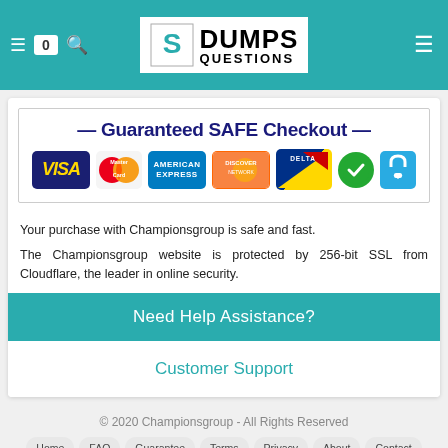[Figure (logo): DumpsQuestions logo with stylized S icon and bold DUMPS QUESTIONS text]
[Figure (infographic): Guaranteed SAFE Checkout banner with VISA, MasterCard, American Express, Discover, Delta, green shield checkmark, and SSL lock icons]
Your purchase with Championsgroup is safe and fast.
The Championsgroup website is protected by 256-bit SSL from Cloudflare, the leader in online security.
Need Help Assistance?
Customer Support
© 2020 Championsgroup - All Rights Reserved
Home
FAQ
Guarantee
Terms
Privacy
About
Contact